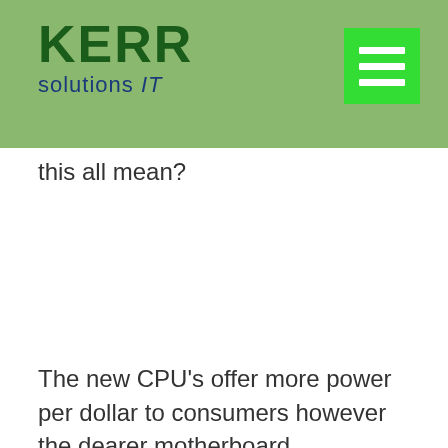[Figure (logo): KERR solutions IT logo on green/olive background with hamburger menu button (bright green) on the right]
this all mean?
The new CPU’s offer more power per dollar to consumers however the dearer motherboard